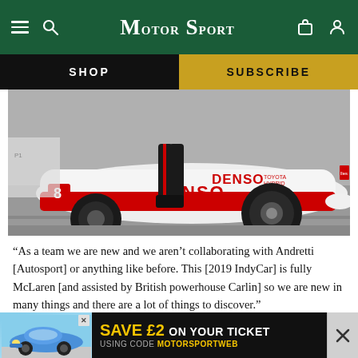Motor Sport
[Figure (photo): Toyota Hybrid LMP1 race car (number 8) in pit lane, with DENSO branding, red and white livery, mechanic standing beside the car]
“As a team we are new and we aren’t collaborating with Andretti [Autosport] or anything like before. This [2019 IndyCar] is fully McLaren [and assisted by British powerhouse Carlin] so we are new in many things and there are a lot of things to discover.”
And after that, it won’t be F1 – “unless McLaren wins some races” – which hasn’t
[Figure (other): Advertisement banner: SAVE £2 ON YOUR TICKET USING CODE MOTORSPORTWEB, with blue Porsche 911 car image on left and close button on right]